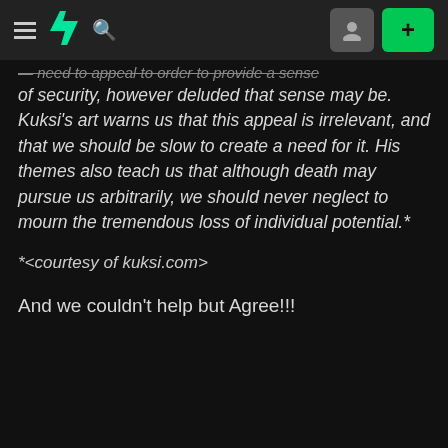≡ [DeviantArt logo] 🔍 [user icon] [+]
— need to appeal to order to provide a sense of security, however deluded that sense may be. Kuksi's art warns us that this appeal is irrelevant, and that we should be slow to create a need for it. His themes also teach us that although death may pursue us arbitrarily, we should never neglect to mourn the tremendous loss of individual potential.*
*<courtesy of kuksi.com>
And we couldn't help but Agree!!!